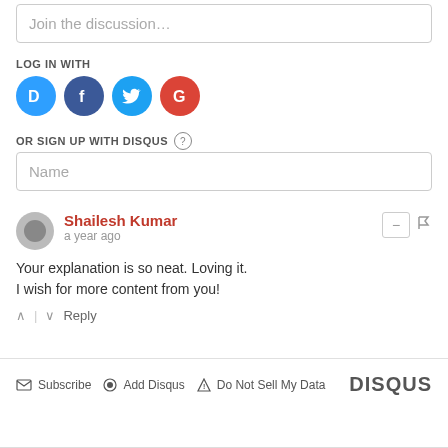Join the discussion…
LOG IN WITH
[Figure (logo): Social login icons: Disqus (blue), Facebook (dark blue), Twitter (light blue), Google (red)]
OR SIGN UP WITH DISQUS ?
Name
Shailesh Kumar
a year ago
Your explanation is so neat. Loving it.
I wish for more content from you!
↑ | ↓  Reply
✉ Subscribe  ● Add Disqus  ▲ Do Not Sell My Data   DISQUS